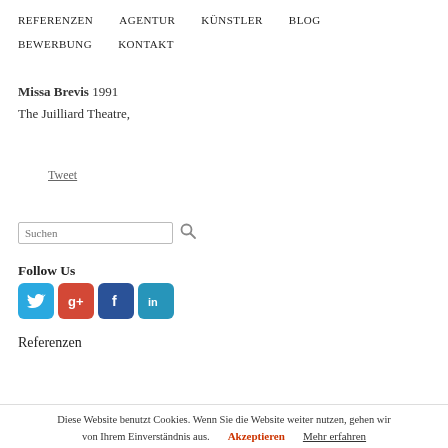REFERENZEN   AGENTUR   KÜNSTLER   BLOG   BEWERBUNG   KONTAKT
Missa Brevis 1991
The Juilliard Theatre,
Tweet
[Figure (screenshot): Search input field with magnifying glass icon, labeled Suchen]
Follow Us
[Figure (infographic): Social media icons: Twitter (blue bird), Google+ (red g+), Facebook (blue f), LinkedIn (light blue in)]
Referenzen
Diese Website benutzt Cookies. Wenn Sie die Website weiter nutzen, gehen wir von Ihrem Einverständnis aus.
Akzeptieren   Mehr erfahren